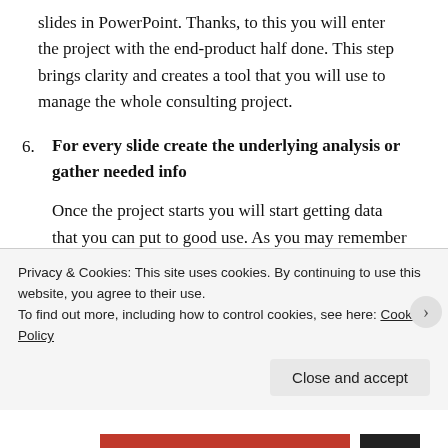slides in PowerPoint. Thanks, to this you will enter the project with the end-product half done. This step brings clarity and creates a tool that you will use to manage the whole consulting project.
6. For every slide create the underlying analysis or gather needed info
Once the project starts you will start getting data that you can put to good use. As you may remember we said that for every slide there will be one message that you will have to prove or disprove using the available data.
Privacy & Cookies: This site uses cookies. By continuing to use this website, you agree to their use.
To find out more, including how to control cookies, see here: Cookie Policy